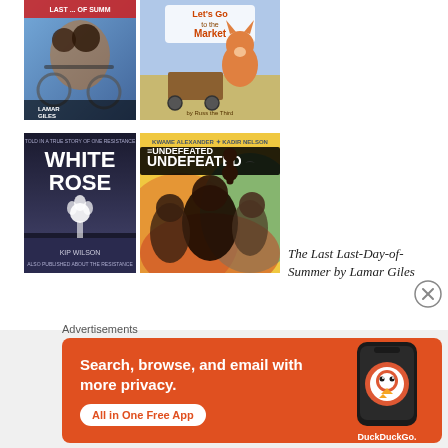[Figure (illustration): Book cover: The Last Last-Day-of-Summer by Lamar Giles — partial top view, children on bike, colorful urban scene]
[Figure (illustration): Book cover: Let's Go to the Market — cartoon animal characters, fox and friends with a cart]
[Figure (illustration): Book cover: White Rose by Kip Wilson — dark moody cover with white rose and figure]
[Figure (illustration): Book cover: The Undefeated by Kwame Alexander and Kadir Nelson — people with raised fist, colorful background]
The Last Last-Day-of-Summer by Lamar Giles
Advertisements
[Figure (infographic): DuckDuckGo advertisement banner: orange background with white text 'Search, browse, and email with more privacy.' and 'All in One Free App' button, phone mockup on right with DuckDuckGo logo]